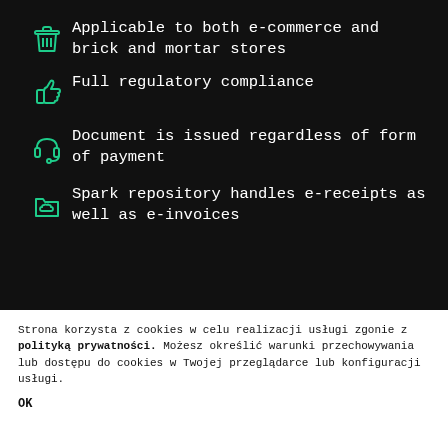Applicable to both e-commerce and brick and mortar stores
Full regulatory compliance
Document is issued regardless of form of payment
Spark repository handles e-receipts as well as e-invoices
Strona korzysta z cookies w celu realizacji usługi zgonie z polityką prywatności. Możesz określić warunki przechowywania lub dostępu do cookies w Twojej przeglądarce lub konfiguracji usługi.
OK